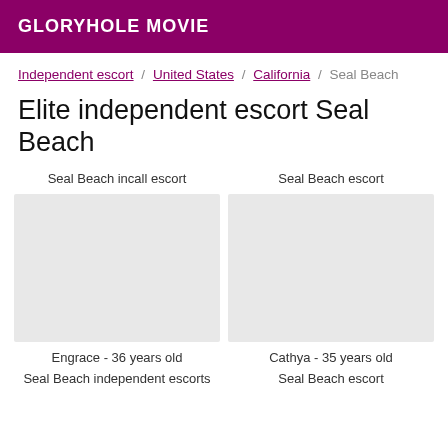GLORYHOLE MOVIE
Independent escort / United States / California / Seal Beach
Elite independent escort Seal Beach
Seal Beach incall escort
Seal Beach escort
Engrace - 36 years old
Cathya - 35 years old
Seal Beach independent escorts
Seal Beach escort